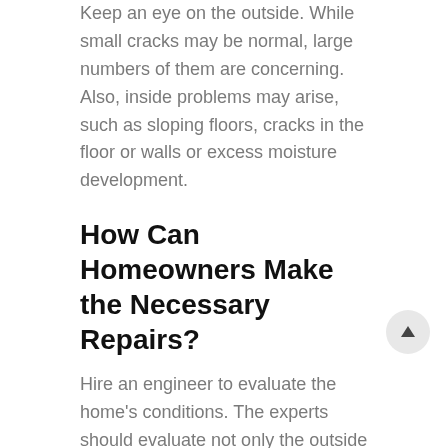Keep an eye on the outside. While small cracks may be normal, large numbers of them are concerning. Also, inside problems may arise, such as sloping floors, cracks in the floor or walls or excess moisture development.
How Can Homeowners Make the Necessary Repairs?
Hire an engineer to evaluate the home's conditions. The experts should evaluate not only the outside of the building but the inside too. The specialists rely on expert knowledge and equipment to repair various areas, including basements and crawl spaces.
What Methods May Prevent Additional Concerns?